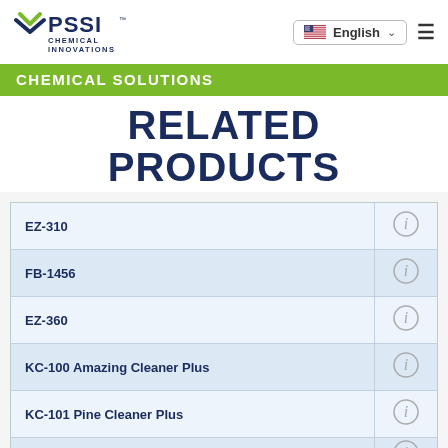[Figure (logo): PSSI Chemical Innovations logo with checkmark/chevron icon in blue and green]
English
CHEMICAL SOLUTIONS
RELATED PRODUCTS
| Product | Info |
| --- | --- |
| EZ-310 | ⓘ |
| FB-1456 | ⓘ |
| EZ-360 | ⓘ |
| KC-100 Amazing Cleaner Plus | ⓘ |
| KC-101 Pine Cleaner Plus | ⓘ |
|  | ⓘ |